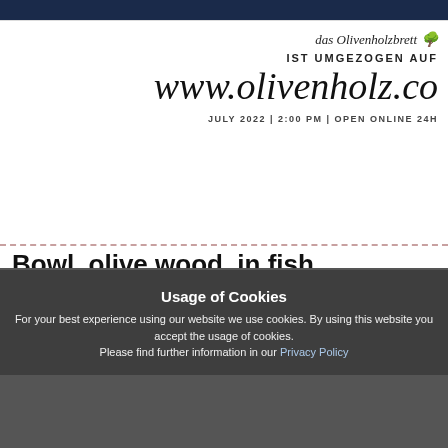[Figure (logo): das Olivenholzbrett logo with tree icon]
IST UMGEZOGEN AUF
www.olivenholz.co
JULY 2022 | 2:00 PM | OPEN ONLINE 24H
Bowl, olive wood, in fish shape
perfect for serving...
→ More details
Usage of Cookies
For your best experience using our website we use cookies. By using this website you accept the usage of cookies.
Please find further information in our Privacy Policy